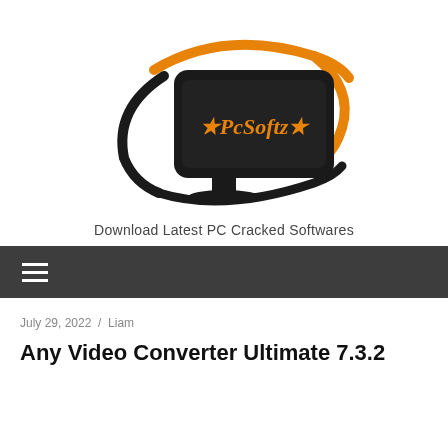[Figure (logo): PcSoftz logo: black monitor with orange swoosh arcs and text '*PcSoftz*' in orange on the screen]
Download Latest PC Cracked Softwares
≡
July 29, 2022 / Liam
Any Video Converter Ultimate 7.3.2